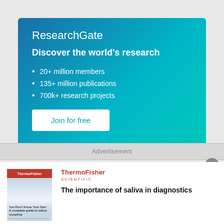[Figure (screenshot): ResearchGate promotional banner with gradient blue background showing logo, tagline 'Discover the world's research', bullet points listing 20+ million members, 135+ million publications, 700k+ research projects, and a white 'Join for free' button]
Advertisement
[Figure (infographic): ThermoFisher Scientific advertisement showing a booklet cover image on the left and ThermoFisher Scientific logo with text 'The importance of saliva in diagnostics' on the right]